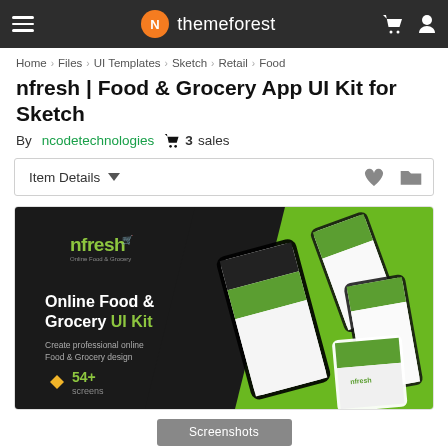themeforest
Home > Files > UI Templates > Sketch > Retail > Food
nfresh | Food & Grocery App UI Kit for Sketch
By ncodetechnologies  3 sales
Item Details
[Figure (screenshot): nfresh Online Food & Grocery UI Kit promotional banner showing multiple app screens on a dark and green background. Text reads: Online Food & Grocery UI Kit. Create professional online Food & Grocery design. 54+ screens.]
Screenshots